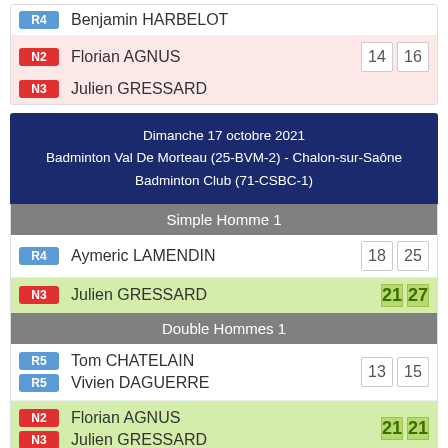| Badge | Player | Score1 | Score2 |
| --- | --- | --- | --- |
| R4 | Benjamin HARBELOT |  |  |
| N2 | Florian AGNUS | 14 | 16 |
| N3 | Julien GRESSARD |  |  |
Dimanche 17 octobre 2021
Badminton Val De Morteau (25-BVM-2) - Chalon-sur-Saône Badminton Club (71-CSBC-1)
Simple Homme 1
| Badge | Player | Score1 | Score2 |
| --- | --- | --- | --- |
| R4 | Aymeric LAMENDIN | 18 | 25 |
| N3 | Julien GRESSARD | 21 | 27 |
Double Hommes 1
| Badge | Player | Score1 | Score2 |
| --- | --- | --- | --- |
| R5 | Tom CHATELAIN | 13 | 15 |
| R5 | Vivien DAGUERRE |  |  |
| N2 | Florian AGNUS | 21 | 21 |
| N3 | Julien GRESSARD |  |  |
Dimanche 17 octobre 2021